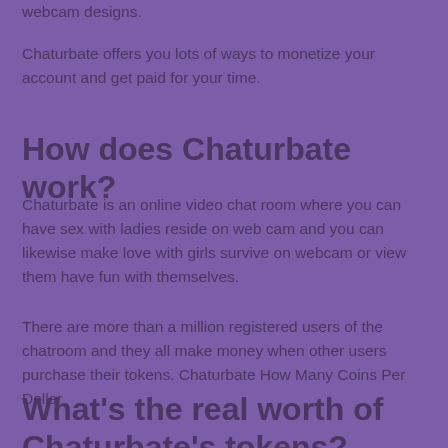webcam designs.
Chaturbate offers you lots of ways to monetize your account and get paid for your time.
How does Chaturbate work?
Chaturbate is an online video chat room where you can have sex with ladies reside on web cam and you can likewise make love with girls survive on webcam or view them have fun with themselves.
There are more than a million registered users of the chatroom and they all make money when other users purchase their tokens. Chaturbate How Many Coins Per Dollar
What's the real worth of Chaturbate's tokens?